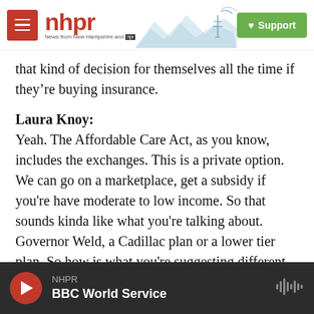nhpr — News from New Hampshire and NPR | Support
that kind of decision for themselves all the time if they're buying insurance.
Laura Knoy:
Yeah. The Affordable Care Act, as you know, includes the exchanges. This is a private option. We can go on a marketplace, get a subsidy if you're have moderate to low income. So that sounds kinda like what you're talking about. Governor Weld, a Cadillac plan or a lower tier plan. So how is what you're suggesting different from what is already offered?
NHPR — BBC World Service